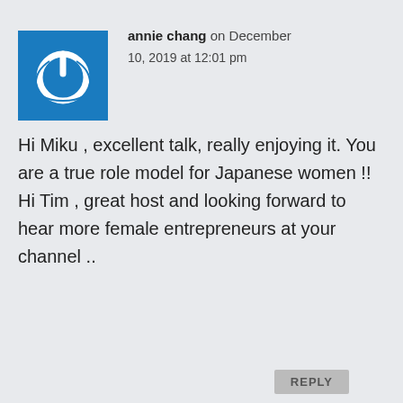[Figure (logo): Blue square with white power button icon]
annie chang on December 10, 2019 at 12:01 pm
Hi Miku , excellent talk, really enjoying it. You are a true role model for Japanese women !! Hi Tim , great host and looking forward to hear more female entrepreneurs at your channel ..
REPLY